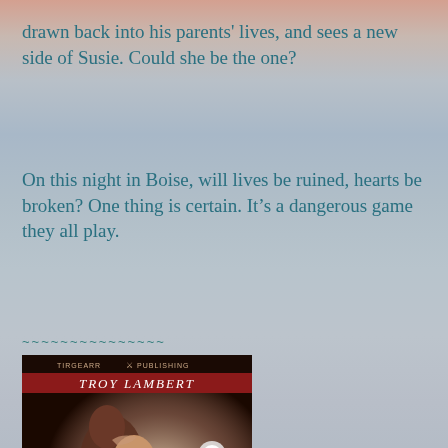drawn back into his parents' lives, and sees a new side of Susie. Could she be the one?
On this night in Boise, will lives be ruined, hearts be broken? One thing is certain. It's a dangerous game they all play.
~~~~~~~~~~~~~~~
[Figure (illustration): Book cover for 'One Night in Boise' by Troy Lambert, published by Tirgearr Publishing. Shows a romantic couple embracing, with the title text 'One Night in Boise' and 'Seven Bells Motel' visible.]